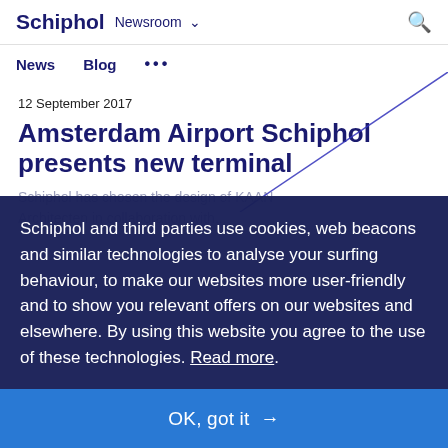Schiphol  Newsroom ∨
News  Blog  •••
12 September 2017
Amsterdam Airport Schiphol presents new terminal
Schiphol has chosen the design of KAAN Architecten in collaboration with...
Schiphol and third parties use cookies, web beacons and similar technologies to analyse your surfing behaviour, to make our websites more user-friendly and to show you relevant offers on our websites and elsewhere. By using this website you agree to the use of these technologies. Read more.
OK, got it →
terminal. The new terminal will open in 2023 and